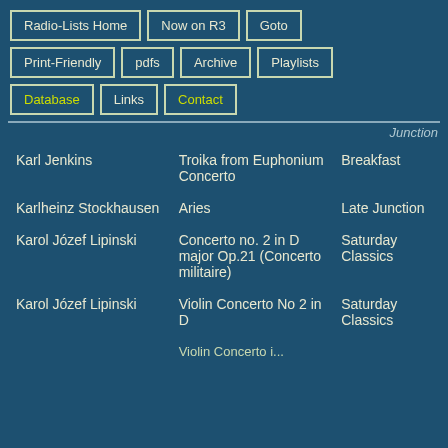Radio-Lists Home
Now on R3
Goto
Print-Friendly
pdfs
Archive
Playlists
Database
Links
Contact
| Composer | Work | Programme |
| --- | --- | --- |
| Karl Jenkins | Troika from Euphonium Concerto | Breakfast |
| Karlheinz Stockhausen | Aries | Late Junction |
| Karol Józef Lipinski | Concerto no. 2 in D major Op.21 (Concerto militaire) | Saturday Classics |
| Karol Józef Lipinski | Violin Concerto No 2 in D | Saturday Classics |